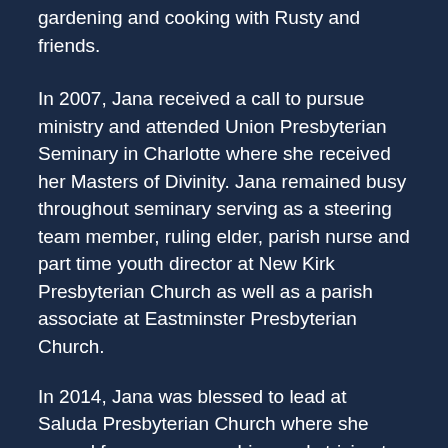gardening and cooking with Rusty and friends.
In 2007, Jana received a call to pursue ministry and attended Union Presbyterian Seminary in Charlotte where she received her Masters of Divinity. Jana remained busy throughout seminary serving as a steering team member, ruling elder, parish nurse and part time youth director at New Kirk Presbyterian Church as well as a parish associate at Eastminster Presbyterian Church.
In 2014, Jana was blessed to lead at Saluda Presbyterian Church where she served four years preaching and striving to building bonds between the different denominations and ethnic groups within the community. The opportunities and the support of the people of Saluda Presbyterian provided the growth and experience that have led her to her current role as here at Seven Oaks